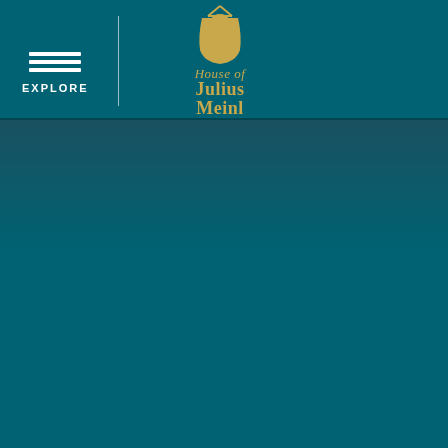[Figure (logo): House of Julius Meinl logo — a golden hanging bag/weight above the cursive text 'House of' and bold serif 'Julius Meinl' in gold on teal background]
EXPLORE